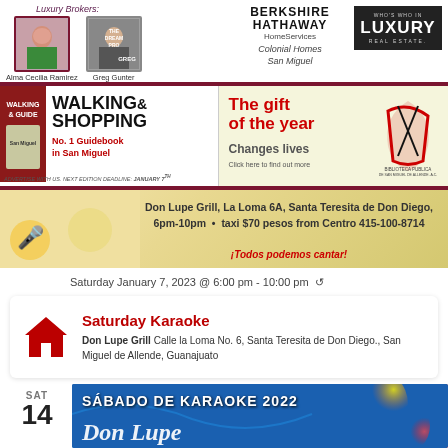[Figure (infographic): Luxury Brokers header ad with photos of Alma Cecilia Ramirez and Greg Gunter, Berkshire Hathaway HomeServices Colonial Homes San Miguel, and Who's Who in Luxury Real Estate logos]
[Figure (infographic): Walking & Shopping guide ad - No. 1 Guidebook in San Miguel, advertise with us next edition deadline January 7th]
[Figure (infographic): The gift of the year - Changes lives - Click here to find out more - Biblioteca Publica de San Miguel de Allende]
[Figure (infographic): Don Lupe Grill karaoke banner: La Loma 6A, Santa Teresita de Don Diego, 6pm-10pm, taxi $70 pesos from Centro 415-100-8714, ¡Todos podemos cantar!]
Saturday January 7, 2023 @ 6:00 pm - 10:00 pm ↺
Saturday Karaoke
Don Lupe Grill Calle la Loma No. 6, Santa Teresita de Don Diego., San Miguel de Allende, Guanajuato
SAT 14
[Figure (photo): SABADO DE KARAOKE 2022 banner image with Don Lupe text in script, colorful fireworks background]